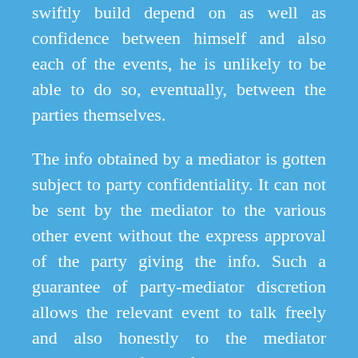swiftly build depend on as well as confidence between himself and also each of the events, he is unlikely to be able to do so, eventually, between the parties themselves.
The info obtained by a mediator is gotten subject to party confidentiality. It can not be sent by the mediator to the various other event without the express approval of the party giving the info. Such a guarantee of party-mediator discretion allows the relevant event to talk freely and also honestly to the mediator regarding the facts of the disagreement (from that celebration's viewpoint) and the prospects and also prospective terms of a proposed settlement (once again from that party's point of view). Such basic information, obtained by the mediator from each party subsequently,